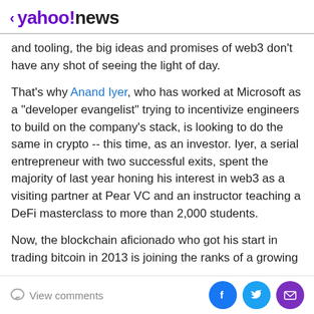< yahoo!news
and tooling, the big ideas and promises of web3 don't have any shot of seeing the light of day.
That's why Anand Iyer, who has worked at Microsoft as a "developer evangelist" trying to incentivize engineers to build on the company's stack, is looking to do the same in crypto -- this time, as an investor. Iyer, a serial entrepreneur with two successful exits, spent the majority of last year honing his interest in web3 as a visiting partner at Pear VC and an instructor teaching a DeFi masterclass to more than 2,000 students.
Now, the blockchain aficionado who got his start in trading bitcoin in 2013 is joining the ranks of a growing
View comments